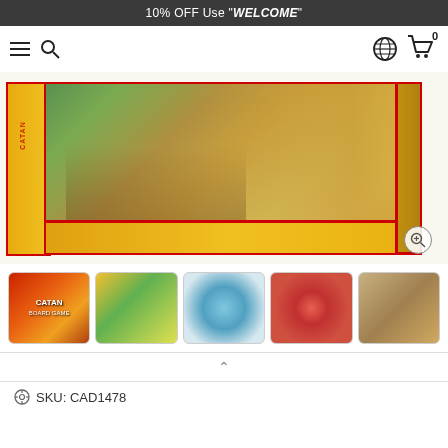10% OFF Use "WELCOME"
[Figure (screenshot): E-commerce website navigation bar with hamburger menu, search icon, globe icon, shopping cart icon with 0 badge]
[Figure (photo): Main product image: Catan board game box shown at an angle, yellow box with red trim, featuring fantasy artwork of three adventurers (two women and a man) standing in a wheat field with a dirt path]
[Figure (photo): Thumbnail 1: Catan board game front box cover with orange/red color scheme]
[Figure (photo): Thumbnail 2: Catan board game back cover showing game board setup]
[Figure (photo): Thumbnail 3: Catan game board components laid out, hexagonal tiles in blue frame]
[Figure (photo): Thumbnail 4: Catan game being played on red background]
[Figure (photo): Thumbnail 5: Catan game being played on table]
SKU: CAD1478